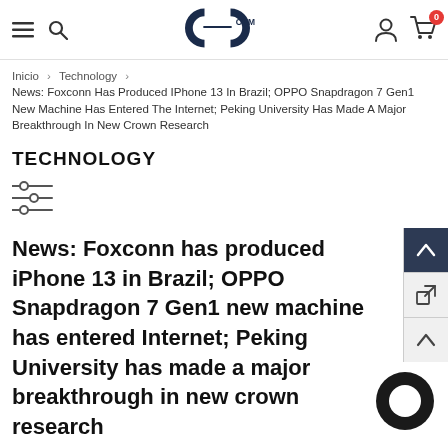GC OEM — navigation bar with hamburger, search, logo, user icon, cart (0)
Inicio > Technology >
News: Foxconn Has Produced IPhone 13 In Brazil; OPPO Snapdragon 7 Gen1 New Machine Has Entered The Internet; Peking University Has Made A Major Breakthrough In New Crown Research
TECHNOLOGY
[Figure (other): Filter/settings icon (three horizontal lines with circle knobs)]
News: Foxconn has produced iPhone 13 in Brazil; OPPO Snapdragon 7 Gen1 new machine has entered Internet; Peking University has made a major breakthrough in new crown research